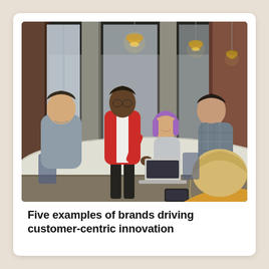[Figure (photo): A diverse group of five people having a meeting around a conference table in an industrial-style office with exposed brick columns and hanging pendant lights. One person in a red jacket is standing and presenting while others are seated and engaged.]
Five examples of brands driving customer-centric innovation